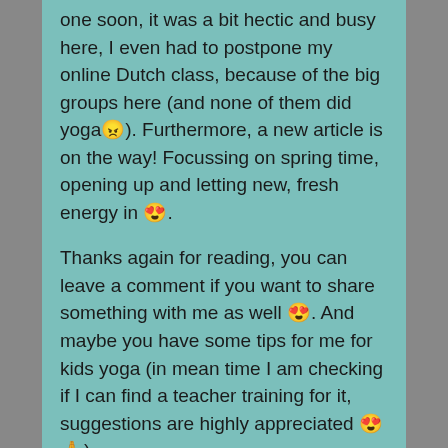one soon, it was a bit hectic and busy here, I even had to postpone my online Dutch class, because of the big groups here (and none of them did yoga😠). Furthermore, a new article is on the way! Focussing on spring time, opening up and letting new, fresh energy in 😍.
Thanks again for reading, you can leave a comment if you want to share something with me as well 😍. And maybe you have some tips for me for kids yoga (in mean time I am checking if I can find a teacher training for it, suggestions are highly appreciated 😍🙏).
💜💚 With love 💜💚